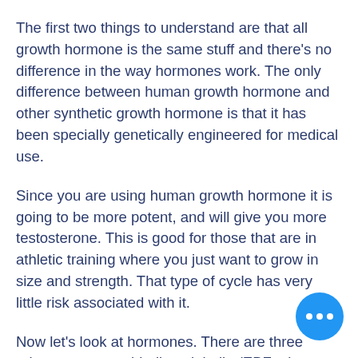The first two things to understand are that all growth hormone is the same stuff and there's no difference in the way hormones work. The only difference between human growth hormone and other synthetic growth hormone is that it has been specially genetically engineered for medical use.
Since you are using human growth hormone it is going to be more potent, and will give you more testosterone. This is good for those that are in athletic training where you just want to grow in size and strength. That type of cycle has very little risk associated with it.
Now let's look at hormones. There are three primary estrogen binding globulin (EBF; also called gonadotropins) that are associated with growth hormone production. These ACTH (adrenocorticotropic hormone, or